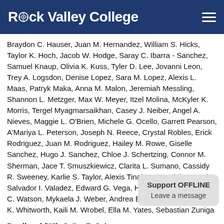Rock Valley College
Braydon C. Hauser, Juan M. Hernandez, William S. Hicks, Taylor K. Hoch, Jacob W. Hodge, Saray C. Ibarra - Sanchez, Samuel Knaup, Olivia K. Kuss, Tyler D. Lee, Jovanni Leon, Trey A. Logsdon, Denise Lopez, Sara M. Lopez, Alexis L. Maas, Patryk Maka, Anna M. Malon, Jeremiah Messling, Shannon L. Metzger, Max W. Meyer, Itzel Molina, McKyler K. Morris, Tergel Myagmarsaikhan, Casey J. Neiber, Angel A. Nieves, Maggie L. O'Brien, Michele G. Ocello, Garrett Pearson, A'Mariya L. Peterson, Joseph N. Reece, Crystal Robles, Erick Rodriguez, Juan M. Rodriguez, Hailey M. Rowe, Giselle Sanchez, Hugo J. Sanchez, Chloe J. Schertzing, Connor M. Sherman, Jace T. Smuszkiewicz, Clarita L. Sumano, Cassidy R. Sweeney, Karlie S. Taylor, Alexis Tinajero, Dominique Trejo, Salvador I. Valadez, Edward G. Vega, Hunter R. Vinke, Keara C. Watson, Mykaela J. Weber, Andrea E. Weiand, Josephine K. Whitworth, Kaili M. Wrobel, Ella M. Yates, Sebastian Zuniga
Brodhead (WI): Cailey E. Calvagna